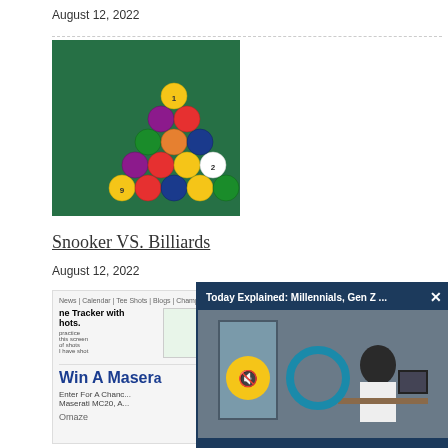August 12, 2022
[Figure (photo): Pool/billiards balls racked in triangle formation on green felt table]
Snooker VS. Billiards
August 12, 2022
[Figure (screenshot): Partial screenshot of a webpage showing 'ne Tracker with hots.' text and a spreadsheet preview. Below is an advertisement overlay: 'Win A Maser...' with text 'Enter For A Chanc... Maserati MC20, A...' branded by Omaze. A video popup is visible on the right showing 'Today Explained: Millennials, Gen Z ...' with a person working at a computer.]